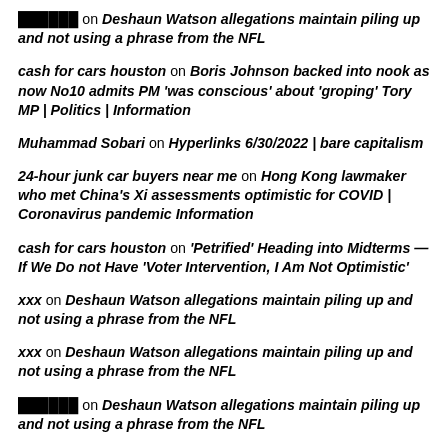██████ on Deshaun Watson allegations maintain piling up and not using a phrase from the NFL
cash for cars houston on Boris Johnson backed into nook as now No10 admits PM 'was conscious' about 'groping' Tory MP | Politics | Information
Muhammad Sobari on Hyperlinks 6/30/2022 | bare capitalism
24-hour junk car buyers near me on Hong Kong lawmaker who met China's Xi assessments optimistic for COVID | Coronavirus pandemic Information
cash for cars houston on 'Petrified' Heading into Midterms — If We Do not Have 'Voter Intervention, I Am Not Optimistic'
xxx on Deshaun Watson allegations maintain piling up and not using a phrase from the NFL
xxx on Deshaun Watson allegations maintain piling up and not using a phrase from the NFL
██████ on Deshaun Watson allegations maintain piling up and not using a phrase from the NFL